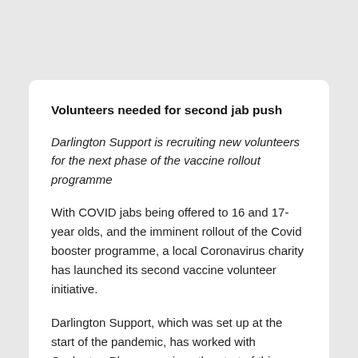Volunteers needed for second jab push
Darlington Support is recruiting new volunteers for the next phase of the vaccine rollout programme
With COVID jabs being offered to 16 and 17-year olds, and the imminent rollout of the Covid booster programme, a local Coronavirus charity has launched its second vaccine volunteer initiative.
Darlington Support, which was set up at the start of the pandemic, has worked with Cockerton Pharmacy since the start of this year to ensure that thousands of local residents received their vaccines in both Cockerton and Firthmoor jab centres.